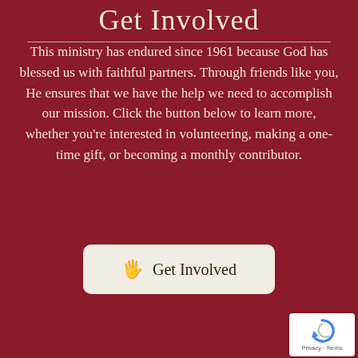Get Involved
This ministry has endured since 1961 because God has blessed us with faithful partners. Through friends like you, He ensures that we have the help we need to accomplish our mission. Click the button below to learn more, whether you’re interested in volunteering, making a one-time gift, or becoming a monthly contributor.
[Figure (other): A button with a raised hand icon and text 'Get Involved' on a beige/cream rounded rectangle background]
[Figure (other): reCAPTCHA widget with Google logo and Privacy - Terms links]